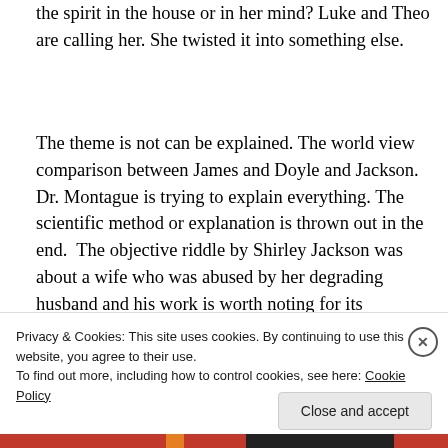the spirit in the house or in her mind? Luke and Theo are calling her. She twisted it into something else.
The theme is not can be explained. The world view comparison between James and Doyle and Jackson. Dr. Montague is trying to explain everything. The scientific method or explanation is thrown out in the end.  The objective riddle by Shirley Jackson was about a wife who was abused by her degrading husband and his work is worth noting for its characterizations.
[Figure (photo): Partial image of books or documents, cropped at bottom of page, partially obscured by cookie banner]
Privacy & Cookies: This site uses cookies. By continuing to use this website, you agree to their use.
To find out more, including how to control cookies, see here: Cookie Policy
Close and accept